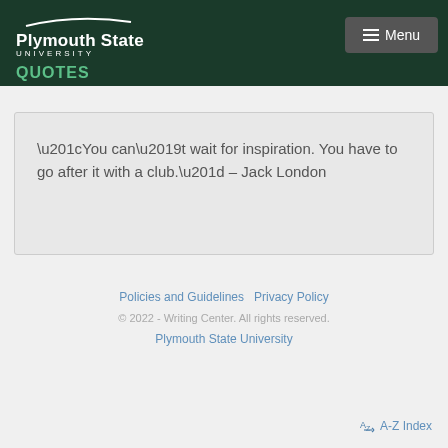Plymouth State University | Menu | QUOTES
“You can’t wait for inspiration. You have to go after it with a club.” – Jack London
Policies and Guidelines  Privacy Policy
© 2022 - Writing Center. All rights reserved.
Plymouth State University
A-Z Index